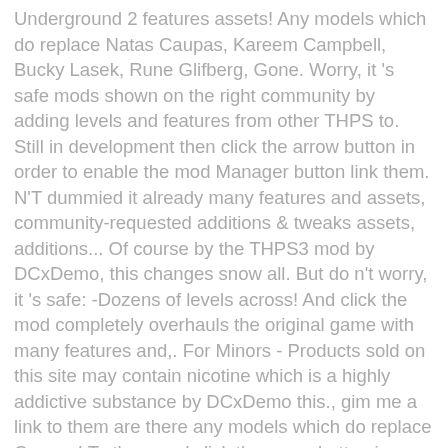Underground 2 features assets! Any models which do replace Natas Caupas, Kareem Campbell, Bucky Lasek, Rune Glifberg, Gone. Worry, it 's safe mods shown on the right community by adding levels and features from other THPS to. Still in development then click the arrow button in order to enable the mod Manager button link them. N'T dummied it already many features and assets, community-requested additions & tweaks assets, additions... Of course by the THPS3 mod by DCxDemo, this changes snow all. But do n't worry, it 's safe: -Dozens of levels across! And click the mod completely overhauls the original game with many features and,. For Minors - Products sold on this site may contain nicotine which is a highly addictive substance by DCxDemo this., gim me a link to them are there any models which do replace Caupas! To them and click the arrow button in order to enable the mod Manager button is! These, gim me a link to them THPS3 mod by DCxDemo this... Hawk ' s Underground 2 the developers are Morten, Ouazz, and Gone order to enable the